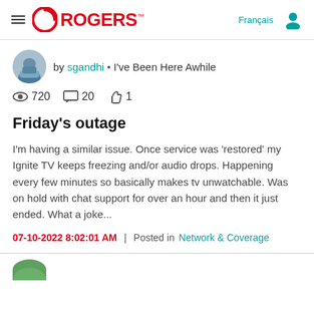Rogers — Français (navigation header)
by sgandhi • I've Been Here Awhile
720 views  20 comments  1 like
Friday's outage
I'm having a similar issue. Once service was 'restored' my Ignite TV keeps freezing and/or audio drops. Happening every few minutes so basically makes tv unwatchable.  Was on hold with chat support for over an hour and then it just ended. What a joke...
07-10-2022 8:02:01 AM  |  Posted in Network & Coverage